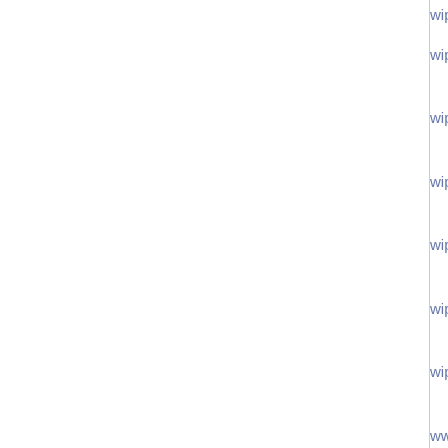| Package | Description |
| --- | --- |
| wip/py-sleekxmpp | for XMPP |
| wip/go-ansicolor | Ansicolor library in Windows |
| wip/py-fyzz | SPARQL parser yapps |
| wip/py-othman | Library providing with a fast search |
| wip/py-toscawidgets | Web widget cre TurboGears widg |
| wip/py-repoze.tm2 | Zope-like trans WSGI middlewar |
| wip/py-goless | Provides a programming sty |
| www/py-WebOb | Python module p and response ob |
| wip/py-khayyam | Khayyam(Jalali library |
| wip/py-freetype-py | Freetype python |
| wip/py-plete | Python,autocomp autocomplete,py |
|  | Componentised |